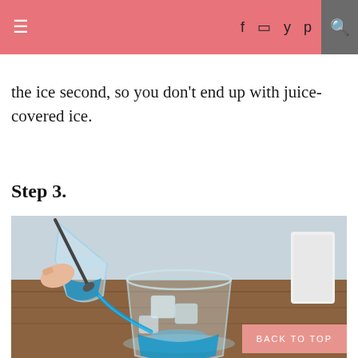≡  f  ☷  𝕎  𝕡  🔍
the ice second, so you don't end up with juice-covered ice.
Step 3.
[Figure (photo): A close-up photo of a glass with ice and blue liquid being poured in from a small pitcher, with a spoon visible. The scene is set on a wooden surface with a light background.]
BACK TO TOP